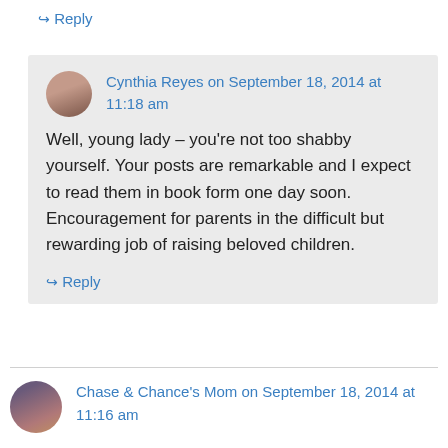↳ Reply
Cynthia Reyes on September 18, 2014 at 11:18 am
Well, young lady – you're not too shabby yourself. Your posts are remarkable and I expect to read them in book form one day soon. Encouragement for parents in the difficult but rewarding job of raising beloved children.
↳ Reply
Chase & Chance's Mom on September 18, 2014 at 11:16 am